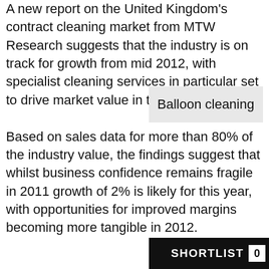A new report on the United Kingdom's contract cleaning market from MTW Research suggests that the industry is on track for growth from mid 2012, with specialist cleaning services in particular set to drive market value in the near term.

Based on sales data for more than 80% of the industry value, the findings suggest that whilst business confidence remains fragile in 2011 growth of 2% is likely for this year, with opportunities for improved margins becoming more tangible in 2012.
Balloon cleaning